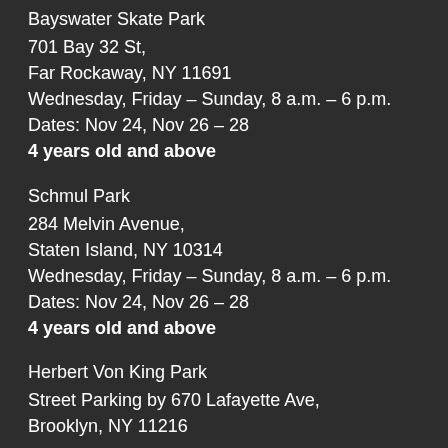Bayswater Skate Park
701 Bay 32 St,
Far Rockaway, NY 11691
Wednesday, Friday – Sunday, 8 a.m. – 6 p.m.
Dates: Nov 24, Nov 26 – 28
4 years old and above
Schmul Park
284 Melvin Avenue,
Staten Island, NY 10314
Wednesday, Friday – Sunday, 8 a.m. – 6 p.m.
Dates: Nov 24, Nov 26 – 28
4 years old and above
Herbert Von King Park
Street Parking by 670 Lafayette Ave,
Brooklyn, NY 11216